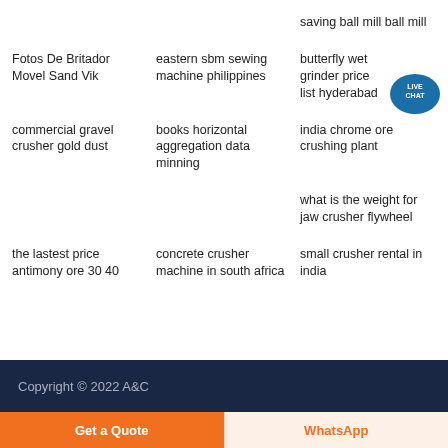saving ball mill ball mill
Fotos De Britador Movel Sand Vik
eastern sbm sewing machine philippines
butterfly wet grinder price list hyderabad
commercial gravel crusher gold dust
books horizontal aggregation data minning
india chrome ore crushing plant
what is the weight for jaw crusher flywheel
the lastest price antimony ore 30 40
concrete crusher machine in south africa
small crusher rental in india
Copyright © 2022 A&C
Get a Quote
WhatsApp